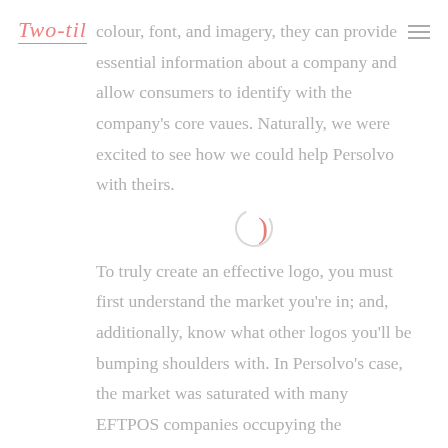Two-til
colour, font, and imagery, they can provide essential information about a company and allow consumers to identify with the company's core vaues. Naturally, we were excited to see how we could help Persolvo with theirs.
[Figure (other): Circular loading spinner icon, partially visible arc in light gray with a pink/salmon colored closing parenthesis shape]
To truly create an effective logo, you must first understand the market you're in; and, additionally, know what other logos you'll be bumping shoulders with. In Persolvo's case, the market was saturated with many EFTPOS companies occupying the